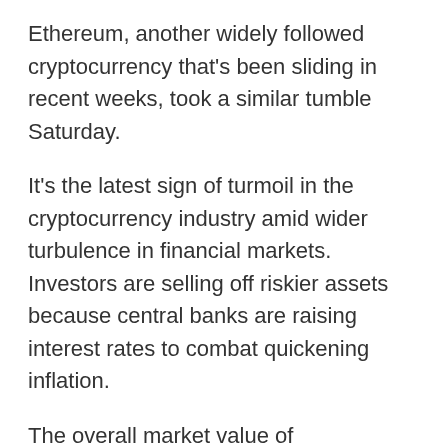Ethereum, another widely followed cryptocurrency that's been sliding in recent weeks, took a similar tumble Saturday.
It's the latest sign of turmoil in the cryptocurrency industry amid wider turbulence in financial markets. Investors are selling off riskier assets because central banks are raising interest rates to combat quickening inflation.
The overall market value of cryptocurrency assets has fallen from $3 trillion to below $1 trillion, according to coinmarketcap.com, a company that